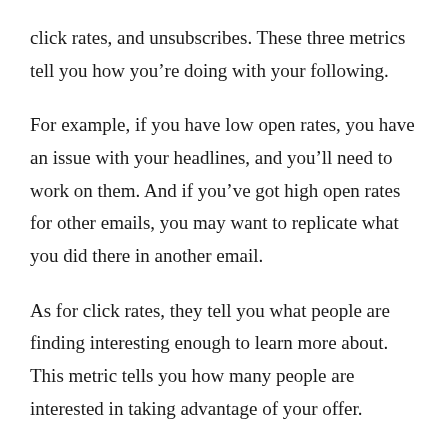click rates, and unsubscribes. These three metrics tell you how you’re doing with your following.
For example, if you have low open rates, you have an issue with your headlines, and you’ll need to work on them. And if you’ve got high open rates for other emails, you may want to replicate what you did there in another email.
As for click rates, they tell you what people are finding interesting enough to learn more about. This metric tells you how many people are interested in taking advantage of your offer.
According to Written Word Media, most